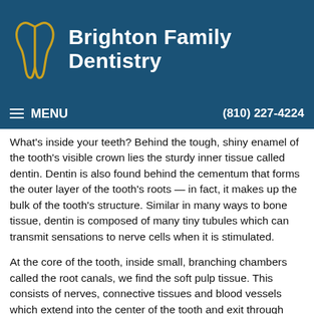Brighton Family Dentistry
MENU  (810) 227-4224
What's inside your teeth? Behind the tough, shiny enamel of the tooth's visible crown lies the sturdy inner tissue called dentin. Dentin is also found behind the cementum that forms the outer layer of the tooth's roots — in fact, it makes up the bulk of the tooth's structure. Similar in many ways to bone tissue, dentin is composed of many tiny tubules which can transmit sensations to nerve cells when it is stimulated.
At the core of the tooth, inside small, branching chambers called the root canals, we find the soft pulp tissue. This consists of nerves, connective tissues and blood vessels which extend into the center of the tooth and exit through canals near the apex (tip) of the tooth's roots. When problems (such as infection and inflammation) develop in the pulp tissue, your first indication of trouble may be tooth sensitivity — or intense pain. In time, as the nerves die, the pain may go away… but the problem won't. In fact, if left